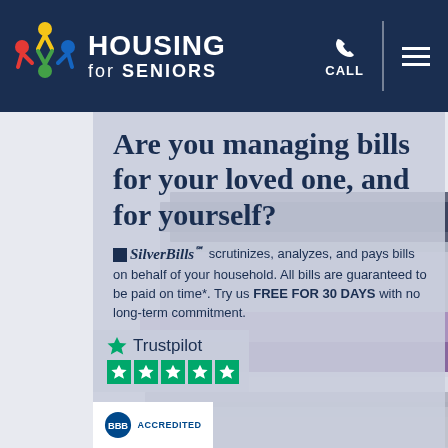Housing for Seniors — CALL (navigation bar)
Are you managing bills for your loved one, and for yourself?
SilverBills℠ scrutinizes, analyzes, and pays bills on behalf of your household. All bills are guaranteed to be paid on time*. Try us FREE FOR 30 DAYS with no long-term commitment.
[Figure (logo): Trustpilot logo with 5 green stars rating]
[Figure (logo): BBB Accredited badge]